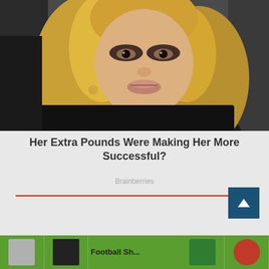[Figure (photo): Close-up photo of a blonde woman with heavy eye makeup and long wavy hair, wearing a dark fur coat. Another person is partially visible to her left.]
Her Extra Pounds Were Making Her More Successful?
Brainberries
[Figure (infographic): Bottom banner strip with green background showing clothing/apparel thumbnail images and partially visible text]